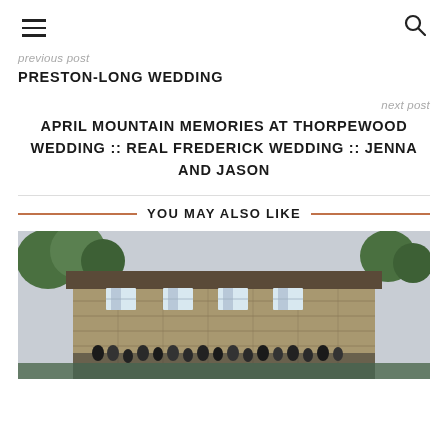☰ 🔍
previous post
PRESTON-LONG WEDDING
next post
APRIL MOUNTAIN MEMORIES AT THORPEWOOD WEDDING :: REAL FREDERICK WEDDING :: JENNA AND JASON
YOU MAY ALSO LIKE
[Figure (photo): Outdoor photo of a stone building/house with trees, group of people standing in front]